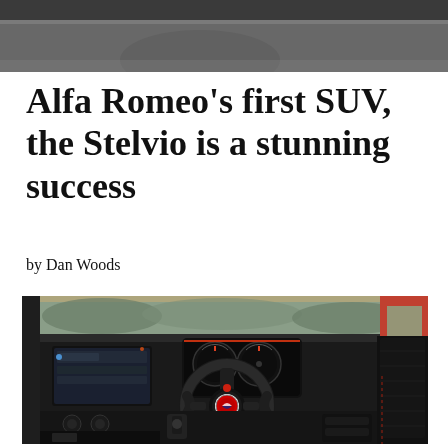[Figure (photo): Partial view of a dark surface/background photo at top of page]
Alfa Romeo’s first SUV, the Stelvio is a stunning success
by Dan Woods
[Figure (photo): Interior of Alfa Romeo Stelvio SUV showing steering wheel with Alfa Romeo badge, dashboard with infotainment screen, instrument cluster, center console, and side mirror visible through window]